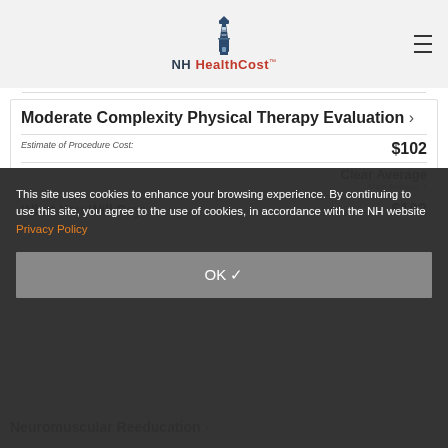NH HealthCost
Moderate Complexity Physical Therapy Evaluation ›
Estimate of Procedure Cost:
$102
Clear Average
State Average: 1
What You Will Pay:
$102
This site uses cookies to enhance your browsing experience. By continuing to use this site, you agree to the use of cookies, in accordance with the NH website Privacy Policy
OK ✓
Neuromuscular Reeducation ›